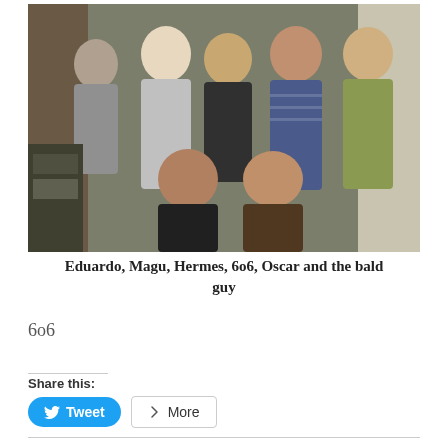[Figure (photo): Group photo of seven people in a room, some standing and two seated in front. Mixed casual clothing.]
Eduardo, Magu, Hermes, 6o6, Oscar and the bald guy
6o6
Share this:
Tweet
More